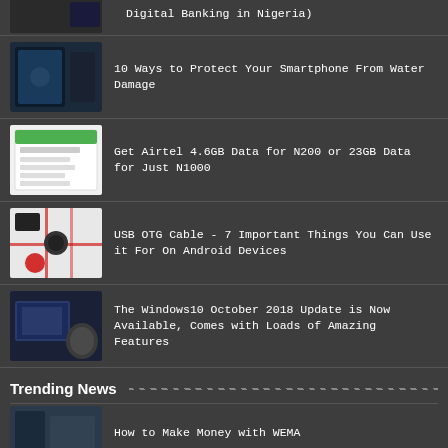Digital Banking in Nigeria)
10 Ways to Protect Your Smartphone From Water Damage
Get Airtel 4.6GB Data for N200 or 23GB Data for Just N1000
USB OTG Cable - 7 Important Things You Can Use it For On Android Devices
The Windows10 October 2018 Update is Now Available, Comes with Loads of Amazing Features
Trending News
How to Make Money with WEMA